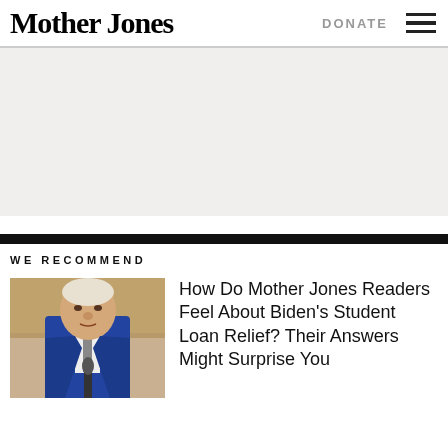Mother Jones
DONATE
[Figure (other): Gray advertisement placeholder area]
WE RECOMMEND
[Figure (photo): Photo of President Biden speaking at a podium, wearing a blue suit]
How Do Mother Jones Readers Feel About Biden's Student Loan Relief? Their Answers Might Surprise You